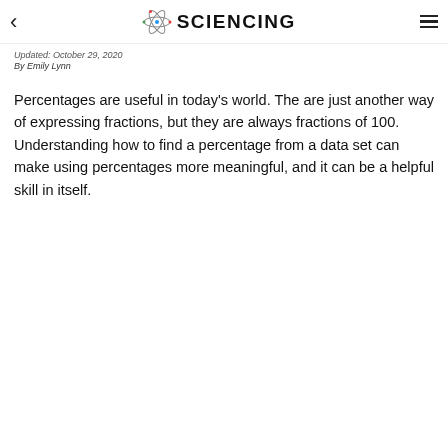< SCIENCING ≡
Updated: October 29, 2020
By Emily Lynn
Percentages are useful in today's world. The are just another way of expressing fractions, but they are always fractions of 100. Understanding how to find a percentage from a data set can make using percentages more meaningful, and it can be a helpful skill in itself.